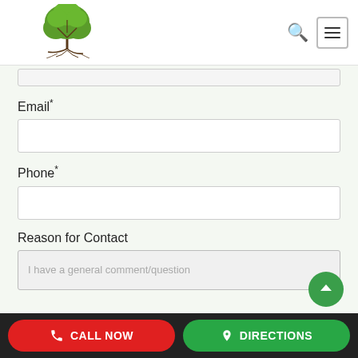[Figure (logo): The Woods at Parkside logo with tree and tagline 'where recovery takes root']
Email*
Phone*
Reason for Contact
I have a general comment/question
CALL NOW    DIRECTIONS